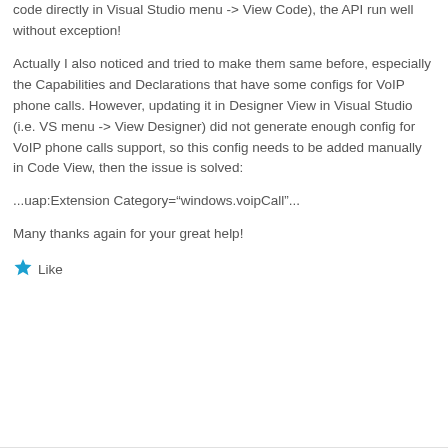code directly in Visual Studio menu -> View Code), the API run well without exception!
Actually I also noticed and tried to make them same before, especially the Capabilities and Declarations that have some configs for VoIP phone calls. However, updating it in Designer View in Visual Studio (i.e. VS menu -> View Designer) did not generate enough config for VoIP phone calls support, so this config needs to be added manually in Code View, then the issue is solved:
...uap:Extension Category="windows.voipCall"...
Many thanks again for your great help!
Like